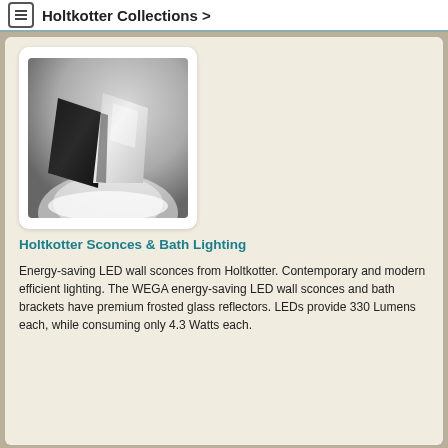Holtkotter Collections >
[Figure (photo): Black and white photo of modern angular LED wall sconces on a wall, showing geometric metal reflector panels with light emanating from below]
Holtkotter Sconces & Bath Lighting
Energy-saving LED wall sconces from Holtkotter. Contemporary and modern efficient lighting. The WEGA energy-saving LED wall sconces and bath brackets have premium frosted glass reflectors. LEDs provide 330 Lumens each, while consuming only 4.3 Watts each.